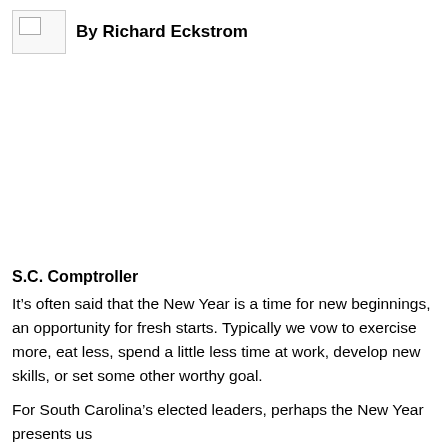[Figure (photo): Broken image placeholder icon (small image with mountain and sun graphic) on the left, followed by byline text 'By Richard Eckstrom' in bold.]
S.C. Comptroller
It’s often said that the New Year is a time for new beginnings, an opportunity for fresh starts. Typically we vow to exercise more, eat less, spend a little less time at work, develop new skills, or set some other worthy goal.
For South Carolina’s elected leaders, perhaps the New Year presents us